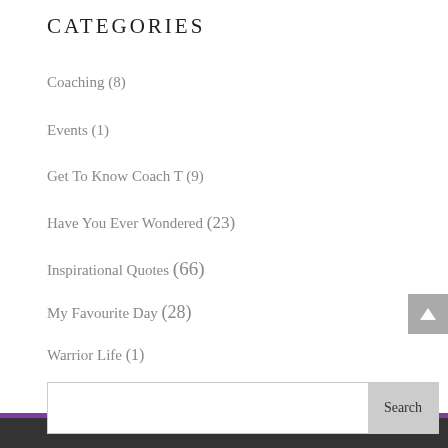CATEGORIES
Coaching (8)
Events (1)
Get To Know Coach T (9)
Have You Ever Wondered (23)
Inspirational Quotes (66)
My Favourite Day (28)
Warrior Life (1)